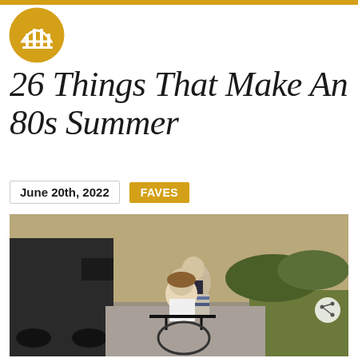[Figure (logo): Circular golden logo with architectural/pillar design in the center]
26 Things That Make An 80s Summer
June 20th, 2022
FAVES
[Figure (photo): Vintage 1980s photo of two children on a bicycle/tricycle on a suburban driveway, with a dark van or station wagon in the background and a green lawn visible. The older child (boy) stands behind the younger child (girl) on the bike.]